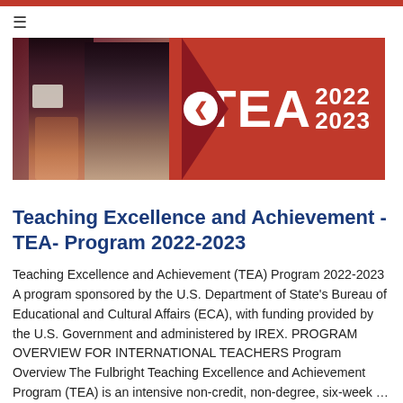≡
[Figure (photo): Banner image showing two teachers/participants standing, with a red background on the right side displaying 'TEA 2022 2023' in large white text, with a white circle containing a left-pointing chevron arrow in the center divider.]
Teaching Excellence and Achievement -TEA- Program 2022-2023
Teaching Excellence and Achievement (TEA) Program 2022-2023 A program sponsored by the U.S. Department of State's Bureau of Educational and Cultural Affairs (ECA), with funding provided by the U.S. Government and administered by IREX. PROGRAM OVERVIEW FOR INTERNATIONAL TEACHERS Program Overview The Fulbright Teaching Excellence and Achievement Program (TEA) is an intensive non-credit, non-degree, six-week …